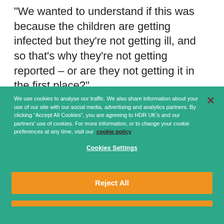“We wanted to understand if this was because the children are getting infected but they’re not getting ill, and so that’s why they’re not getting reported – or are they not getting it in the first place?”
In search of answers, the research team, led by
We use cookies to analyse our traffic. We also share information about your use of our site with our social media, advertising and analytics partners. By clicking “Accept All Cookies”, you are agreeing to HDR UK’s and our partners' use of cookies. For more information, or to change your cookie preferences at any time, visit our cookie policy
Cookies Settings
Reject All